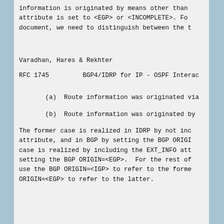information is originated by means other than
attribute is set to <EGP> or <INCOMPLETE>.  Fo
document, we need to distinguish between the t
Varadhan, Hares & Rekhter
RFC 1745          BGP4/IDRP for IP - OSPF Interac
(a)  Route information was originated via
(b)  Route information was originated by
The former case is realized in IDRP by not inc
attribute, and in BGP by setting the BGP ORIGI
case is realized by including the EXT_INFO att
setting the BGP ORIGIN=<EGP>.  For the rest of
use the BGP ORIGIN=<IGP> to refer to the forme
ORIGIN=<EGP> to refer to the latter.